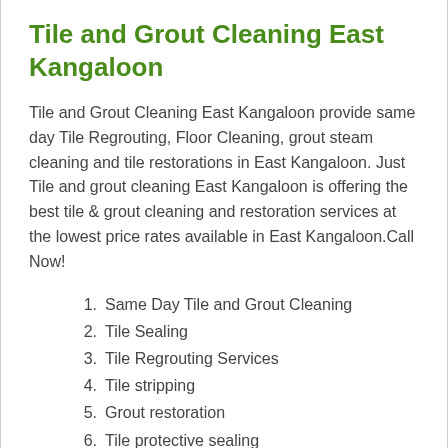Tile and Grout Cleaning East Kangaloon
Tile and Grout Cleaning East Kangaloon provide same day Tile Regrouting, Floor Cleaning, grout steam cleaning and tile restorations in East Kangaloon. Just Tile and grout cleaning East Kangaloon is offering the best tile & grout cleaning and restoration services at the lowest price rates available in East Kangaloon.Call Now!
Same Day Tile and Grout Cleaning
Tile Sealing
Tile Regrouting Services
Tile stripping
Grout restoration
Tile protective sealing